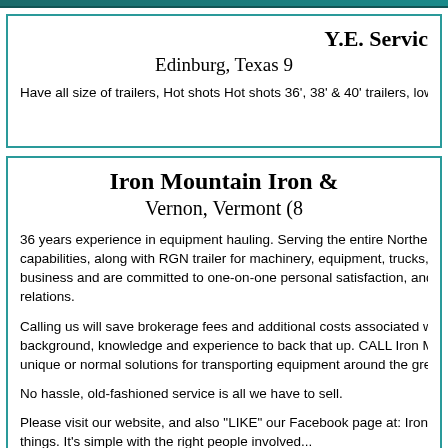Y.E. Servic
Edinburg, Texas 9
Have all size of trailers, Hot shots Hot shots 36', 38' & 40' trailers, lowb
Iron Mountain Iron &
Vernon, Vermont (8
36 years experience in equipment hauling. Serving the entire Northea capabilities, along with RGN trailer for machinery, equipment, trucks, e business and are committed to one-on-one personal satisfaction, and relations.
Calling us will save brokerage fees and additional costs associated wi background, knowledge and experience to back that up. CALL Iron Mo unique or normal solutions for transporting equipment around the grea
No hassle, old-fashioned service is all we have to sell.
Please visit our website, and also "LIKE" our Facebook page at: Iron M things. It's simple with the right people involved...
ironmountainironhauling.com